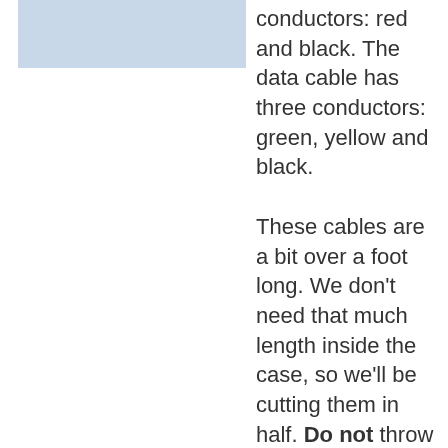[Figure (photo): Partial view of cables, light blue/grey background, top-left area]
conductors: red and black. The data cable has three conductors: green, yellow and black.

These cables are a bit over a foot long. We don't need that much length inside the case, so we'll be cutting them in half. Do not throw away the other half! We'll be repurposing the extra wire in a subsequent step.
[Figure (photo): Partial view of power cable connector, tan/brown background, bottom-left area]
The power cable has a different connector at